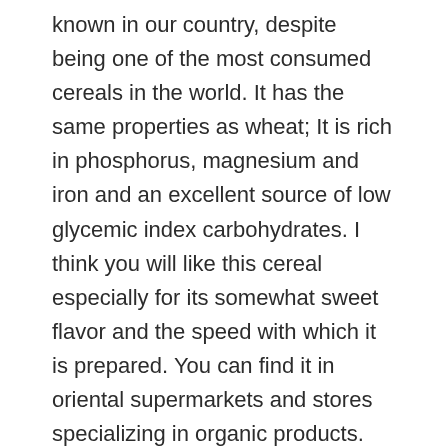known in our country, despite being one of the most consumed cereals in the world. It has the same properties as wheat; It is rich in phosphorus, magnesium and iron and an excellent source of low glycemic index carbohydrates. I think you will like this cereal especially for its somewhat sweet flavor and the speed with which it is prepared. You can find it in oriental supermarkets and stores specializing in organic products.
Ingredients